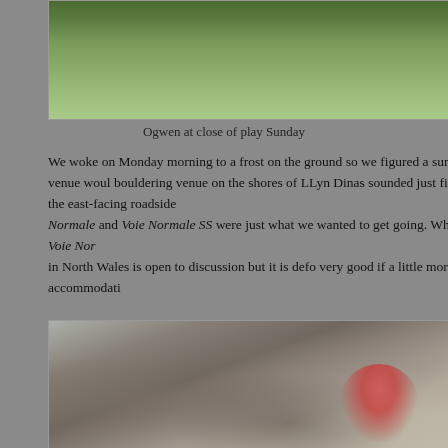[Figure (photo): Aerial/elevated landscape photo of Ogwen, showing green hillside, stone walls and terraced fields on a Sunday evening]
Ogwen at close of play Sunday
We woke on Monday morning to a frost on the ground so we figured a sunny venue would be ideal. A bouldering venue on the shores of LLyn Dinas sounded just fine; the east-facing roadside boulders. Voie Normale and Voie Normale SS were just what we wanted to get going. Whether Voie Nor... in North Wales is open to discussion but it is defo very good if a little more accommodati...
[Figure (photo): Photo of a climber bouldering on a large overhanging rock face, arms raised reaching for holds, wearing red top and grey trousers with climbing shoes]